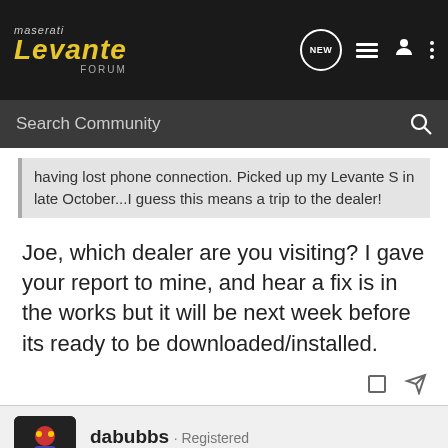Maserati Levante Forum — Search Community
having lost phone connection. Picked up my Levante S in late October...I guess this means a trip to the dealer!
Joe, which dealer are you visiting? I gave your report to mine, and hear a fix is in the works but it will be next week before its ready to be downloaded/installed.
dabubbs · Registered
Joined Sep 24, 2016 · 115 Posts
#14 · Dec 13, 2016
Bengoshi said: